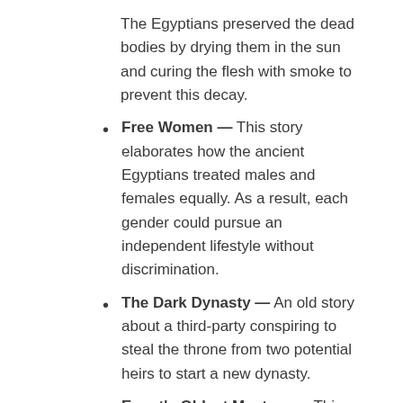The Egyptians preserved the dead bodies by drying them in the sun and curing the flesh with smoke to prevent this decay.
Free Women — This story elaborates how the ancient Egyptians treated males and females equally. As a result, each gender could pursue an independent lifestyle without discrimination.
The Dark Dynasty — An old story about a third-party conspiring to steal the throne from two potential heirs to start a new dynasty.
Egypt's Oldest Mystery — This story demystifies the true identity of King Menes and how the two ancient Egyptian kingdoms united.